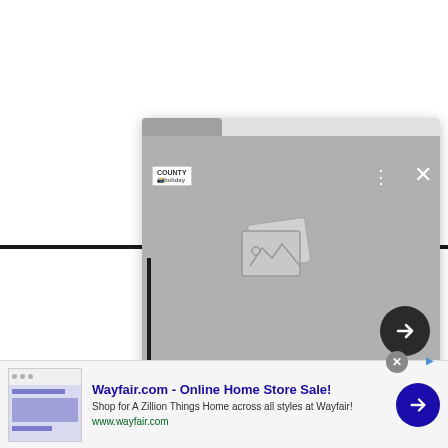[Figure (screenshot): A browser popup/overlay card showing a gray content area with an image placeholder icon, three-dots menu, X close button, and a dark circular arrow button. A tab bar is visible at the top. Below the gray area is a white section. Horizontal and vertical black lines cross the page behind the card.]
[Figure (screenshot): Ad banner at the bottom: Wayfair.com advertisement with thumbnail, title 'Wayfair.com - Online Home Store Sale!', description 'Shop for A Zillion Things Home across all styles at Wayfair!', URL 'www.wayfair.com', and a blue circular arrow button. Close button (gray circle with X) in top right of ad. AdChoices icon visible.]
Wayfair.com - Online Home Store Sale!
Shop for A Zillion Things Home across all styles at Wayfair!
www.wayfair.com